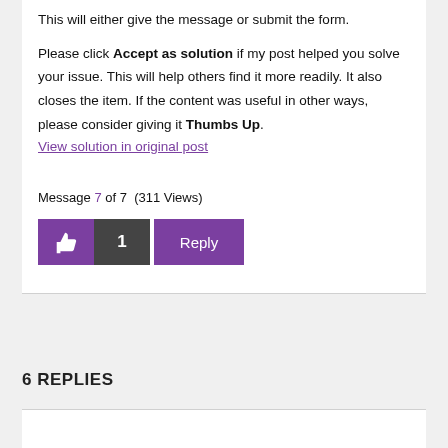This will either give the message or submit the form.
Please click Accept as solution if my post helped you solve your issue. This will help others find it more readily. It also closes the item. If the content was useful in other ways, please consider giving it Thumbs Up.
View solution in original post
Message 7 of 7  (311 Views)
[Figure (other): Thumbs up button with count 1 and Reply button]
6 REPLIES